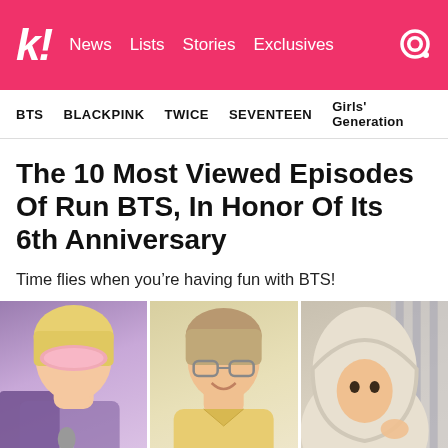k! News Lists Stories Exclusives
BTS   BLACKPINK   TWICE   SEVENTEEN   Girls' Generation
The 10 Most Viewed Episodes Of Run BTS, In Honor Of Its 6th Anniversary
Time flies when you're having fun with BTS!
[Figure (photo): Three BTS members side by side: left member with blonde hair and pink sleep mask, center member with light brown hair and glasses smiling, right member with cream colored hoodie/blanket over head.]